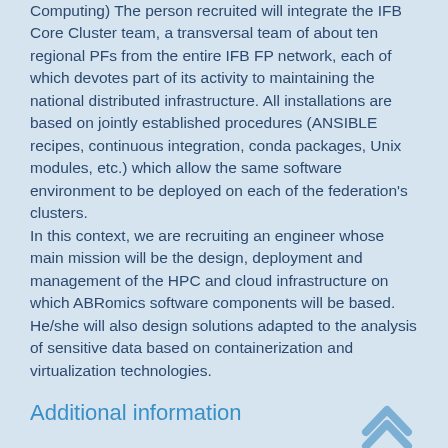Computing) The person recruited will integrate the IFB Core Cluster team, a transversal team of about ten regional PFs from the entire IFB FP network, each of which devotes part of its activity to maintaining the national distributed infrastructure. All installations are based on jointly established procedures (ANSIBLE recipes, continuous integration, conda packages, Unix modules, etc.) which allow the same software environment to be deployed on each of the federation's clusters. In this context, we are recruiting an engineer whose main mission will be the design, deployment and management of the HPC and cloud infrastructure on which ABRomics software components will be based. He/she will also design solutions adapted to the analysis of sensitive data based on containerization and virtualization technologies.
Additional information
The person will be integrated into his/her host team, and will participate, on site and in telecommuting, in IFB and ABRomics...